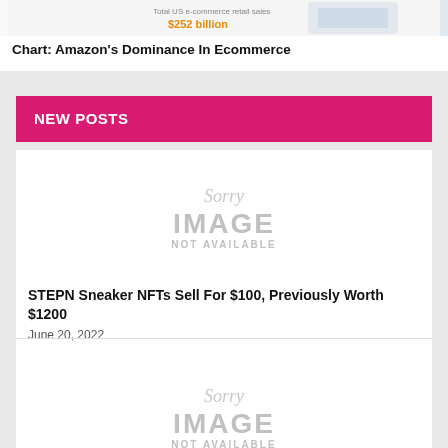[Figure (infographic): Partial chart image preview showing 'Total US e-commerce retail sales' with '$252 billion' label in orange and a device graphic]
Chart: Amazon's Dominance In Ecommerce
NEW POSTS
[Figure (photo): Sorry IMAGE NOT AVAILABLE placeholder]
STEPN Sneaker NFTs Sell For $100, Previously Worth $1200
June 20, 2022
[Figure (photo): Sorry IMAGE NOT AVAILABLE placeholder]